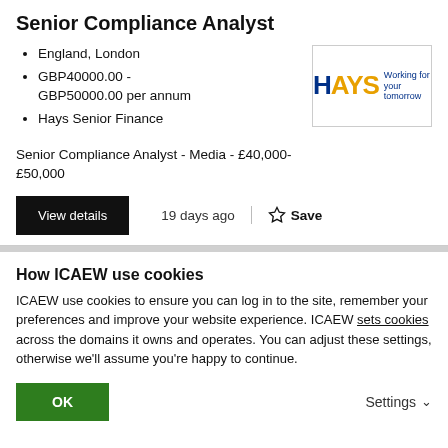Senior Compliance Analyst
England, London
GBP40000.00 - GBP50000.00 per annum
Hays Senior Finance
[Figure (logo): HAYS logo with tagline 'Working for your tomorrow']
Senior Compliance Analyst - Media - £40,000-£50,000
19 days ago
Save
How ICAEW use cookies
ICAEW use cookies to ensure you can log in to the site, remember your preferences and improve your website experience. ICAEW sets cookies across the domains it owns and operates. You can adjust these settings, otherwise we'll assume you're happy to continue.
OK
Settings